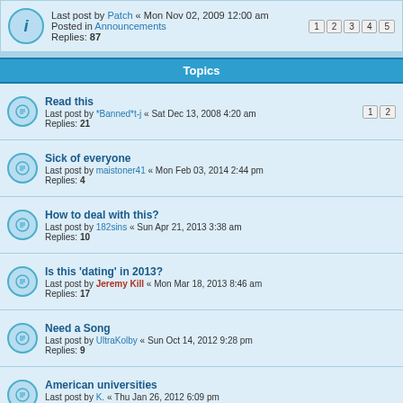Last post by Patch « Mon Nov 02, 2009 12:00 am
Posted in Announcements
Replies: 87
Topics
Read this
Last post by *Banned*t-j « Sat Dec 13, 2008 4:20 am
Replies: 21
Sick of everyone
Last post by maistoner41 « Mon Feb 03, 2014 2:44 pm
Replies: 4
How to deal with this?
Last post by 182sins « Sun Apr 21, 2013 3:38 am
Replies: 10
Is this 'dating' in 2013?
Last post by Jeremy Kill « Mon Mar 18, 2013 8:46 am
Replies: 17
Need a Song
Last post by UltraKolby « Sun Oct 14, 2012 9:28 pm
Replies: 9
American universities
Last post by K. « Thu Jan 26, 2012 6:09 pm
Replies: 2
IMMEDIATE HELP!!!!
Last post by K. « Thu Jan 26, 2012 6:09 pm
Replies: 22